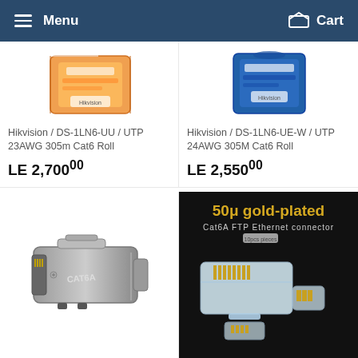Menu  Cart
[Figure (photo): Hikvision orange box cable roll product image]
Hikvision / DS-1LN6-UU / UTP 23AWG 305m Cat6 Roll
LE 2,700^00
[Figure (photo): Hikvision blue box cable roll product image]
Hikvision / DS-1LN6-UE-W / UTP 24AWG 305M Cat6 Roll
LE 2,550^00
[Figure (photo): Metal CAT6A FTP RJ45 toolless connector, silver metallic housing]
[Figure (photo): 50 micron gold-plated Cat6A FTP Ethernet connector, clear plastic, 10 pieces, black background with text: 50μ gold-plated Cat6A FTP Ethernet connector]